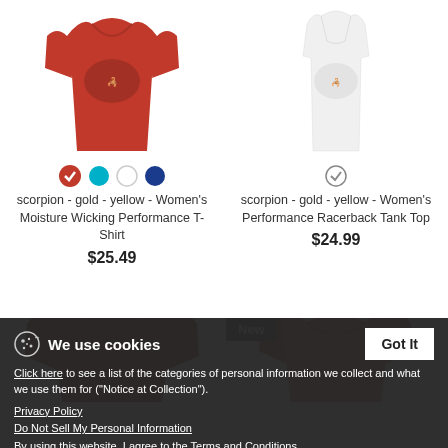[Figure (photo): Red women's moisture wicking performance T-shirt with scorpion graphic]
[Figure (photo): White women's performance racerback tank top with scorpion graphic]
scorpion - gold - yellow - Women's Moisture Wicking Performance T-Shirt
$25.49
scorpion - gold - yellow - Women's Performance Racerback Tank Top
$24.99
[Figure (photo): Dark red long sleeve shirt product thumbnail]
[Figure (photo): Red short sleeve shirt product thumbnail with New badge]
We use cookies
Click here to see a list of the categories of personal information we collect and what we use them for ("Notice at Collection").
Privacy Policy
Do Not Sell My Personal Information
By using this website, I agree to the Terms and Conditions